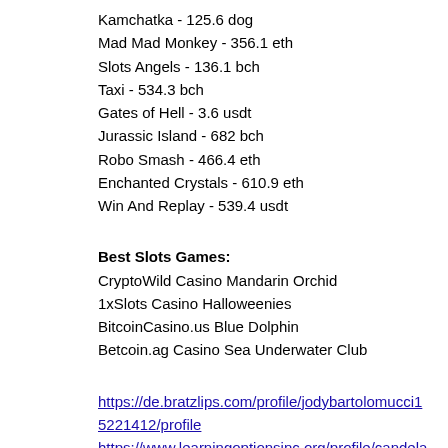Kamchatka - 125.6 dog
Mad Mad Monkey - 356.1 eth
Slots Angels - 136.1 bch
Taxi - 534.3 bch
Gates of Hell - 3.6 usdt
Jurassic Island - 682 bch
Robo Smash - 466.4 eth
Enchanted Crystals - 610.9 eth
Win And Replay - 539.4 usdt
Best Slots Games:
CryptoWild Casino Mandarin Orchid
1xSlots Casino Halloweenies
BitcoinCasino.us Blue Dolphin
Betcoin.ag Casino Sea Underwater Club
https://de.bratzlips.com/profile/jodybartolomucci15221412/profile
https://www.learningoptionsinc.org/profile/candelariayanni8242148/profile